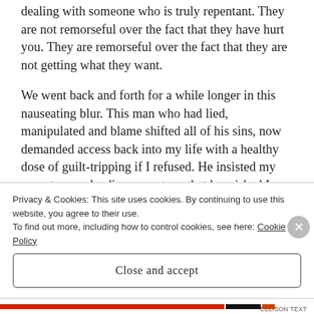dealing with someone who is truly repentant. They are not remorseful over the fact that they have hurt you. They are remorseful over the fact that they are not getting what they want.
We went back and forth for a while longer in this nauseating blur. This man who had lied, manipulated and blame shifted all of his sins, now demanded access back into my life with a healthy dose of guilt-tripping if I refused. He insisted my parents were leading me astray, that he wished I would think for myself and forgive him, and ended with another
Privacy & Cookies: This site uses cookies. By continuing to use this website, you agree to their use.
To find out more, including how to control cookies, see here: Cookie Policy
Close and accept
ELLISON TEXT